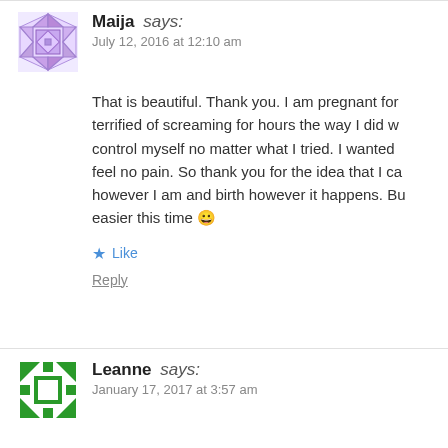[Figure (illustration): Purple geometric avatar icon for Maija]
Maija says:
July 12, 2016 at 12:10 am
That is beautiful. Thank you. I am pregnant for... terrified of screaming for hours the way I did w... control myself no matter what I tried. I wanted... feel no pain. So thank you for the idea that I ca... however I am and birth however it happens. Bu... easier this time 😀
Like
Reply
[Figure (illustration): Green geometric avatar icon for Leanne]
Leanne says:
January 17, 2017 at 3:57 am
Thank you. I love booking and this. I am on the...